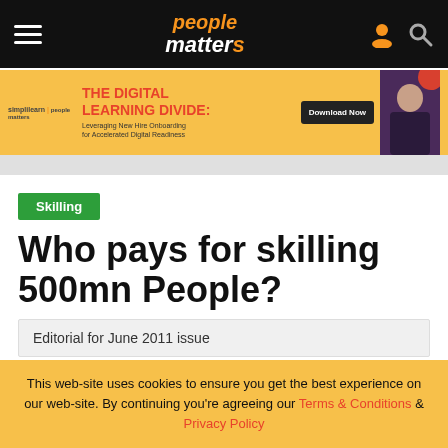people matters
[Figure (infographic): Advertisement banner: THE DIGITAL LEARNING DIVIDE: Leveraging New Hire Onboarding for Accelerated Digital Readiness. Simplilearn | People Matters. Download Now button. Woman photo on right.]
Skilling
Who pays for skilling 500mn People?
Editorial for June 2011 issue
This web-site uses cookies to ensure you get the best experience on our web-site. By continuing you're agreeing our Terms & Conditions & Privacy Policy